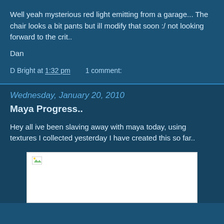Well yeah mysterious red light emitting from a garage... The chair looks a bit pants but ill modify that soon :/ not looking forward to the crit..
Dan
D Bright at 1:32 pm    1 comment:
Wednesday, January 20, 2010
Maya Progress..
Hey all ive been slaving away with maya today, using textures I collected yesterday I have created this so far..
[Figure (photo): A partially loaded or broken image placeholder in a white box]